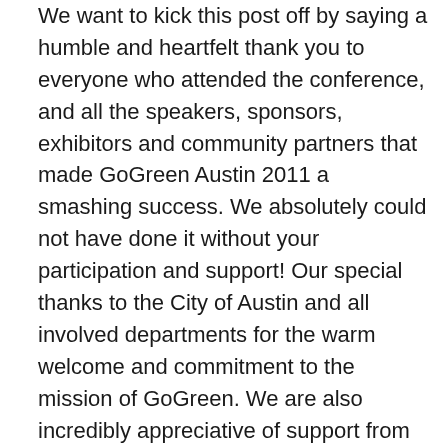We want to kick this post off by saying a humble and heartfelt thank you to everyone who attended the conference, and all the speakers, sponsors, exhibitors and community partners that made GoGreen Austin 2011 a smashing success. We absolutely could not have done it without your participation and support! Our special thanks to the City of Austin and all involved departments for the warm welcome and commitment to the mission of GoGreen. We are also incredibly appreciative of support from Lucia Athens, Jessica King, the Austin Convention Center, Texas Gas Service and the Austin Business Journal.
In case you missed out on GoGreen Austin 2011 or just want to relive the fun, we've put together a recap with session highlights from three of our favorite talks and resources to explore. We also hope you'll add your